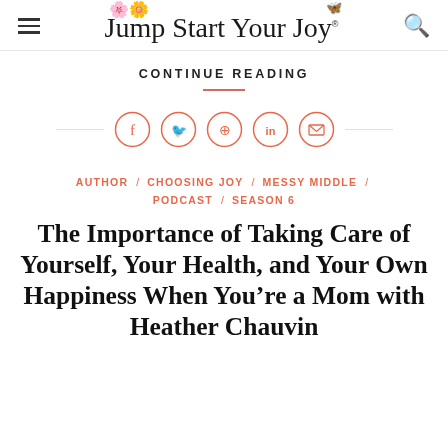Jump Start Your Joy
CONTINUE READING
[Figure (infographic): Social sharing icons row: Facebook, Twitter, Pinterest, LinkedIn, Email — each in a salmon/coral circle outline, flanked by horizontal lines]
AUTHOR / CHOOSING JOY / MESSY MIDDLE / PODCAST / SEASON 6
The Importance of Taking Care of Yourself, Your Health, and Your Own Happiness When You're a Mom with Heather Chauvin